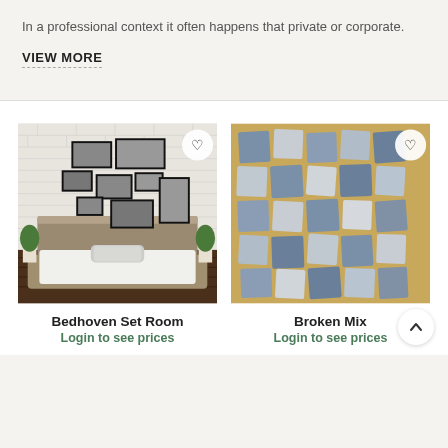In a professional context it often happens that private or corporate.
VIEW MORE
[Figure (photo): Bedroom with white brick wall, wooden platform bed with white mattress and two pillows, multiple black photo frames arranged on wall above bed, green plants on either side. Heart/favorite icon in top right corner.]
[Figure (photo): Grid of blue-grey and white irregular stone tiles arranged on a yellow-tan background. Heart/favorite icon in top right corner.]
Bedhoven Set Room
Login to see prices
Broken Mix
Login to see prices